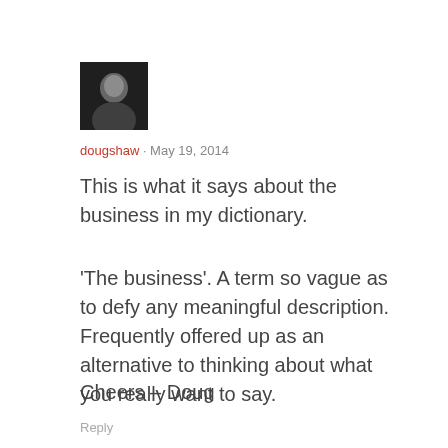[Figure (photo): Small square avatar photo of a person, dark background]
dougshaw · May 19, 2014
This is what it says about the business in my dictionary.
'The business'. A term so vague as to defy any meaningful description. Frequently offered up as an alternative to thinking about what you really want to say.
Cheers – Doug
Reply